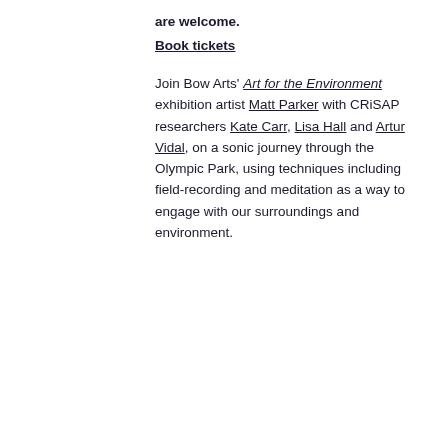are welcome.
Book tickets
Join Bow Arts' Art for the Environment exhibition artist Matt Parker with CRiSAP researchers Kate Carr, Lisa Hall and Artur Vidal, on a sonic journey through the Olympic Park, using techniques including field-recording and meditation as a way to engage with our surroundings and environment.